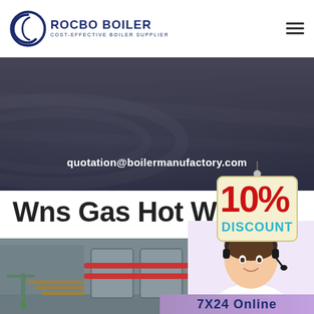[Figure (logo): Rocbo Boiler logo with circular C icon and text 'ROCBO BOILER / COST-EFFECTIVE BOILER SUPPLIER']
[Figure (photo): Dark industrial hero banner with boiler/piping background imagery]
quotation@boilermanufactory.com
[Figure (illustration): 10% DISCOUNT badge/tag hanging on a string with red and teal text on cream background]
Wns Gas Hot Water
[Figure (photo): Industrial boiler installation inside a factory, showing blue and orange pipes and green railings]
[Figure (photo): Customer service agent woman wearing headset, smiling, in white uniform]
7X24 Online